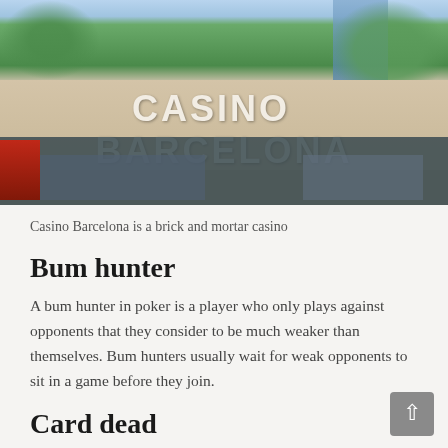[Figure (photo): Exterior photo of Casino Barcelona building showing the large white lettering 'CASINO BARCELONA' on the facade, with green trees and a blue glass skyscraper in the background]
Casino Barcelona is a brick and mortar casino
Bum hunter
A bum hunter in poker is a player who only plays against opponents that they consider to be much weaker than themselves. Bum hunters usually wait for weak opponents to sit in a game before they join.
Card dead
Card dead in poker simply refers to long stretches at the table without being dealt strong or even playable starting